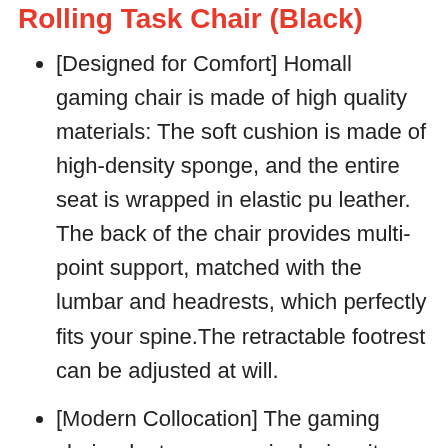Rolling Task Chair (Black)
[Designed for Comfort] Homall gaming chair is made of high quality materials: The soft cushion is made of high-density sponge, and the entire seat is wrapped in elastic pu leather. The back of the chair provides multi-point support, matched with the lumbar and headrests, which perfectly fits your spine.The retractable footrest can be adjusted at will.
[Modern Collocation] The gaming chair adopts ergonomic design, it